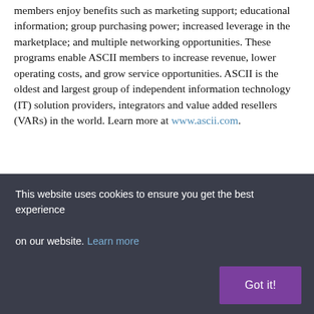members enjoy benefits such as marketing support; educational information; group purchasing power; increased leverage in the marketplace; and multiple networking opportunities. These programs enable ASCII members to increase revenue, lower operating costs, and grow service opportunities. ASCII is the oldest and largest group of independent information technology (IT) solution providers, integrators and value added resellers (VARs) in the world. Learn more at www.ascii.com.
Like what you are reading?
Sign up for our free newsletter
This website uses cookies to ensure you get the best experience on our website. Learn more